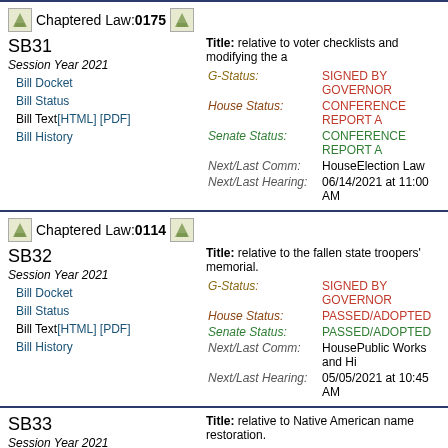Chaptered Law: 0175
SB31
Session Year 2021
Bill Docket
Bill Status
Bill Text[HTML] [PDF]
Bill History
Title: relative to voter checklists and modifying the a...
G-Status: SIGNED BY GOVERNOR
House Status: CONFERENCE REPORT A...
Senate Status: CONFERENCE REPORT A...
Next/Last Comm: HouseElection Law
Next/Last Hearing: 06/14/2021 at 11:00 AM
Chaptered Law: 0114
SB32
Session Year 2021
Bill Docket
Bill Status
Bill Text[HTML] [PDF]
Bill History
Title: relative to the fallen state troopers' memorial.
G-Status: SIGNED BY GOVERNOR
House Status: PASSED/ADOPTED
Senate Status: PASSED/ADOPTED
Next/Last Comm: HousePublic Works and Hi...
Next/Last Hearing: 05/05/2021 at 10:45 AM
SB33
Session Year 2021
Bill Docket
Bill Status
Bill Text[HTML] [PDF]
Bill History
Title: relative to Native American name restoration.
G-Status: HOUSE
House Status: INEXPEDIENT TO LEGIS...
Senate Status: PASSED/ADOPTED WITH...
Next/Last Comm: HouseExecutive Departme...